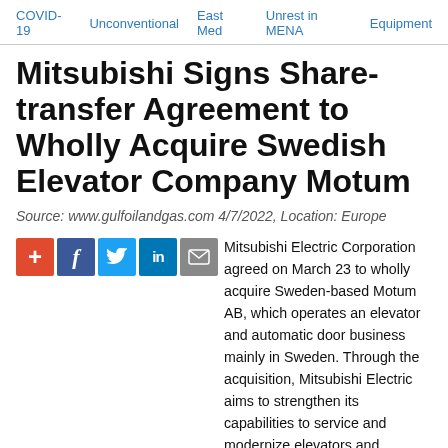COVID-19   Unconventional   East Med   Unrest in MENA   Equipment
Mitsubishi Signs Share-transfer Agreement to Wholly Acquire Swedish Elevator Company Motum
Source: www.gulfoilandgas.com 4/7/2022, Location: Europe
[Figure (other): Social sharing icons: plus/add (red), Facebook (blue), Twitter (light blue), LinkedIn (dark blue), Email/envelope (grey)]
Mitsubishi Electric Corporation agreed on March 23 to wholly acquire Sweden-based Motum AB, which operates an elevator and automatic door business mainly in Sweden. Through the acquisition, Mitsubishi Electric aims to strengthen its capabilities to service and modernize elevators and escalators in Sweden and other countries not limited to Europe.